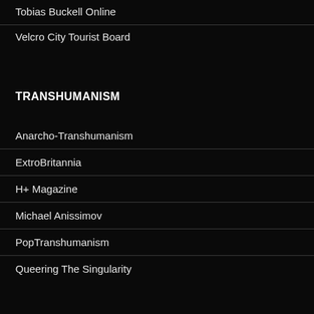Tobias Buckell Online
Velcro City Tourist Board
TRANSHUMANISM
Anarcho-Transhumanism
ExtroBritannia
H+ Magazine
Michael Anissimov
PopTranshumanism
Queering The Singularity
WEIRD AND WONDERFUL